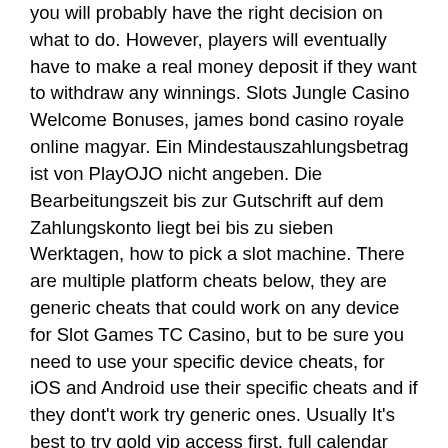you will probably have the right decision on what to do. However, players will eventually have to make a real money deposit if they want to withdraw any winnings. Slots Jungle Casino Welcome Bonuses, james bond casino royale online magyar. Ein Mindestauszahlungsbetrag ist von PlayOJO nicht angeben. Die Bearbeitungszeit bis zur Gutschrift auf dem Zahlungskonto liegt bei bis zu sieben Werktagen, how to pick a slot machine. There are multiple platform cheats below, they are generic cheats that could work on any device for Slot Games TC Casino, but to be sure you need to use your specific device cheats, for iOS and Android use their specific cheats and if they dont't work try generic ones. Usually It's best to try gold vip access first, full calendar select time slot.
Online roulette daily profit maker, omaha poker good